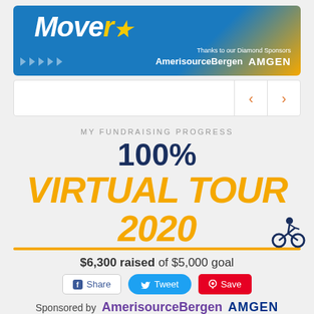[Figure (illustration): Blue and gold Mover banner with 'Thanks to our Diamond Sponsors AmerisourceBergen AMGEN' text and white arrow decorations]
[Figure (screenshot): Navigation bar with left and right orange chevron arrows]
MY FUNDRAISING PROGRESS
100%
VIRTUAL TOUR 2020
$6,300 raised of $5,000 goal
Share  Tweet  Save
Sponsored by AmerisourceBergen AMGEN
My Team: TEAM GENESIS
Total Raised: $55,893 | Members: 26